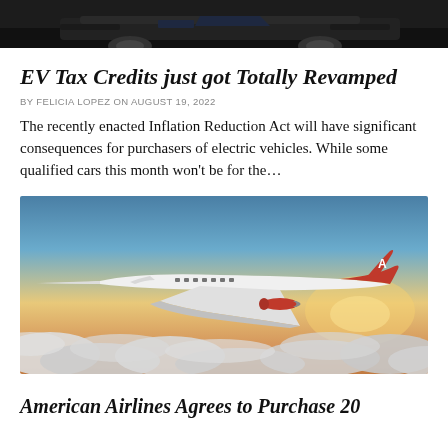[Figure (photo): Partial view of a dark-colored car, cropped at the top of the page]
EV Tax Credits just got Totally Revamped
BY FELICIA LOPEZ ON AUGUST 19, 2022
The recently enacted Inflation Reduction Act will have significant consequences for purchasers of electric vehicles. While some qualified cars this month won't be for the...
[Figure (photo): Supersonic passenger jet aircraft with red and white livery flying above clouds at sunset]
American Airlines Agrees to Purchase 20